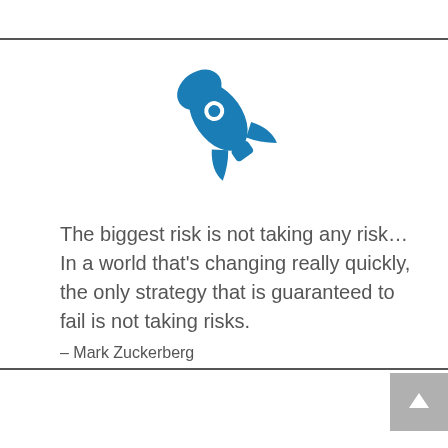[Figure (illustration): Blue rocket ship icon pointing upper-right]
The biggest risk is not taking any risk… In a world that’s changing really quickly, the only strategy that is guaranteed to fail is not taking risks.
– Mark Zuckerberg